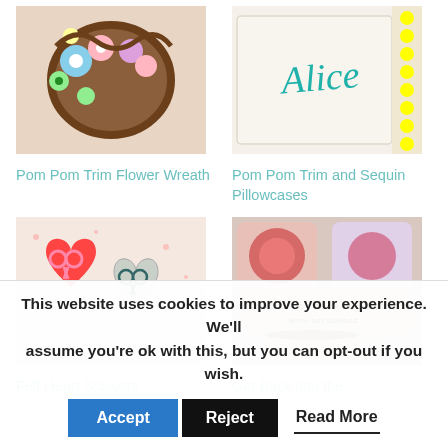[Figure (photo): Pom pom trim flower wreath with colorful flowers]
[Figure (photo): Pillowcase with name Alice embroidered in teal cursive, with pom pom trim and sequins]
Pom Pom Trim Flower Wreath
Pom Pom Trim and Sequin Pillowcases
[Figure (photo): Felt heart scissors holders in red and gray with decorative stitching]
[Figure (photo): Decoupage coasters with floral pattern and a mug of tea]
Felt Heart Scissors
Get Back into the
This website uses cookies to improve your experience. We'll assume you're ok with this, but you can opt-out if you wish.